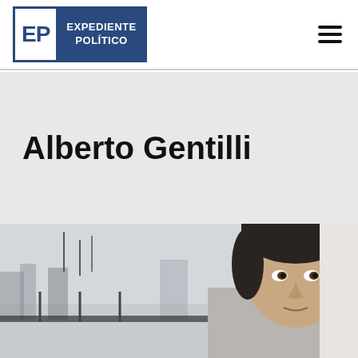Expediente Político
Alberto Gentilli
[Figure (photo): Portrait photograph of Alberto Gentilli, a man with dark hair, outdoors with a city skyline and antennas visible in the background.]